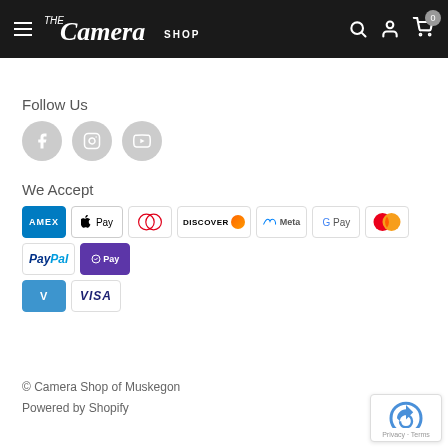The Camera Shop
Follow Us
[Figure (other): Social media icons: Facebook, Instagram, YouTube]
We Accept
[Figure (other): Payment method logos: AMEX, Apple Pay, Diners Club, Discover, Meta, Google Pay, Mastercard, PayPal, ShopPay, Venmo, Visa]
© Camera Shop of Muskegon
Powered by Shopify